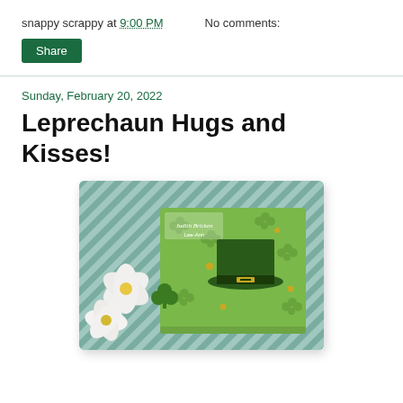snappy scrappy at 9:00 PM    No comments:
Share
Sunday, February 20, 2022
Leprechaun Hugs and Kisses!
[Figure (photo): A St. Patrick's Day handmade card with a leprechaun hat, shamrock pattern background in green, white flowers, and decorative elements.]